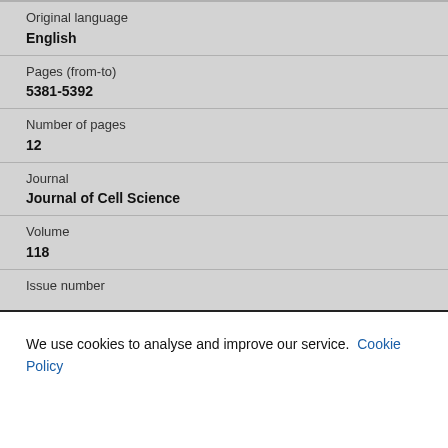Original language
English
Pages (from-to)
5381-5392
Number of pages
12
Journal
Journal of Cell Science
Volume
118
Issue number
We use cookies to analyse and improve our service. Cookie Policy